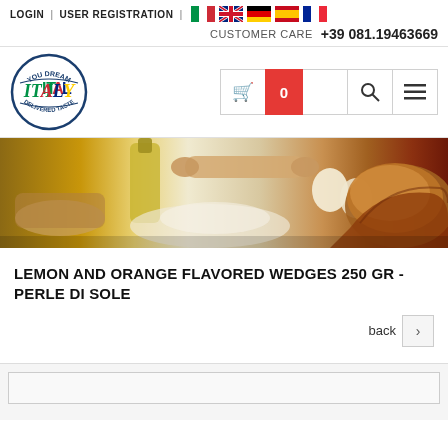LOGIN | USER REGISTRATION | [flags] CUSTOMER CARE +39 081.19463669
[Figure (logo): You Dream Italy Delivered Taste circular logo with green/red/blue text]
[Figure (photo): Hero banner showing Italian baking ingredients: olive oil bottle, eggs, flour, rolling pin, bread loaf on wooden surface]
LEMON AND ORANGE FLAVORED WEDGES 250 GR - PERLE DI SOLE
back >